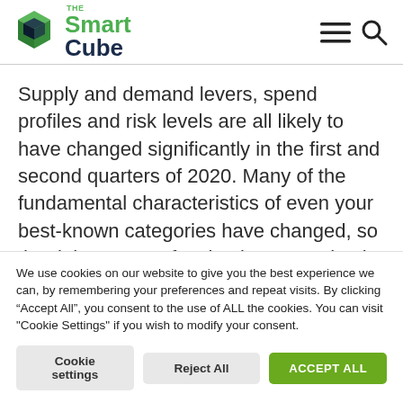The Smart Cube
Supply and demand levers, spend profiles and risk levels are all likely to have changed significantly in the first and second quarters of 2020. Many of the fundamental characteristics of even your best-known categories have changed, so the right course of action is to completely redevelop category
We use cookies on our website to give you the best experience we can, by remembering your preferences and repeat visits. By clicking “Accept All”, you consent to the use of ALL the cookies. You can visit "Cookie Settings" if you wish to modify your consent.